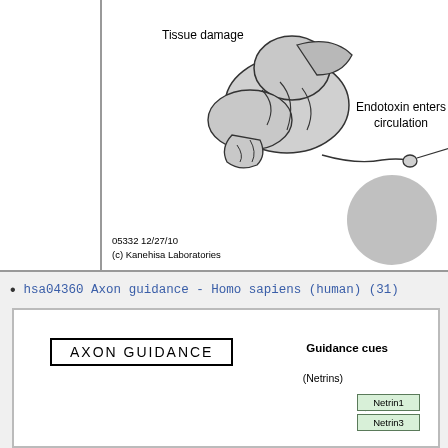[Figure (illustration): Biological illustration showing tissue damage with an intestinal/gut organ diagram. Labels include 'Tissue damage' on the left, 'Endotoxin enters circulation' on the right with a line pointing to a structure. A gray circle appears in the lower right of the panel. Footer text reads '05332 12/27/10' and '(c) Kanehisa Laboratories'.]
hsa04360 Axon guidance - Homo sapiens (human) (31)
[Figure (schematic): AXON GUIDANCE pathway diagram showing the title 'AXON GUIDANCE' in a bordered box, with 'Guidance cues' header, '(Netrins)' subcategory, and green boxes labeled 'Netrin1' and 'Netrin3' with an arrow indicator.]